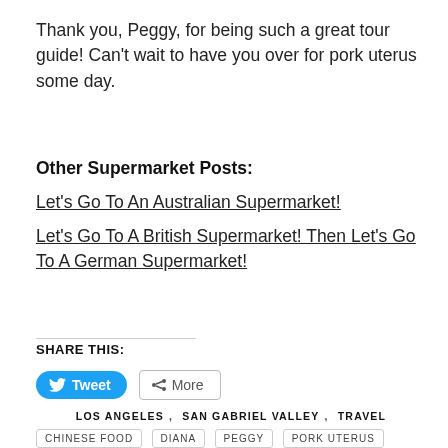Thank you, Peggy, for being such a great tour guide! Can't wait to have you over for pork uterus some day.
Other Supermarket Posts:
Let's Go To An Australian Supermarket!
Let's Go To A British Supermarket! Then Let's Go To A German Supermarket!
SHARE THIS:
[Figure (other): Tweet button (blue rounded) and More button (outlined)]
LOS ANGELES, SAN GABRIEL VALLEY, TRAVEL
CHINESE FOOD  DIANA  PEGGY  PORK UTERUS  SAN GABRIEL VALLEY  SUPERMARKETS